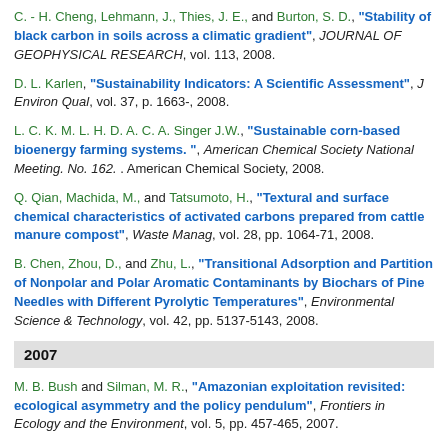C. - H. Cheng, Lehmann, J., Thies, J. E., and Burton, S. D., "Stability of black carbon in soils across a climatic gradient", JOURNAL OF GEOPHYSICAL RESEARCH, vol. 113, 2008.
D. L. Karlen, "Sustainability Indicators: A Scientific Assessment", J Environ Qual, vol. 37, p. 1663-, 2008.
L. C. K. M. L. H. D. A. C. A. Singer J.W., "Sustainable corn-based bioenergy farming systems. ", American Chemical Society National Meeting. No. 162. . American Chemical Society, 2008.
Q. Qian, Machida, M., and Tatsumoto, H., "Textural and surface chemical characteristics of activated carbons prepared from cattle manure compost", Waste Manag, vol. 28, pp. 1064-71, 2008.
B. Chen, Zhou, D., and Zhu, L., "Transitional Adsorption and Partition of Nonpolar and Polar Aromatic Contaminants by Biochars of Pine Needles with Different Pyrolytic Temperatures", Environmental Science & Technology, vol. 42, pp. 5137-5143, 2008.
2007
M. B. Bush and Silman, M. R., "Amazonian exploitation revisited: ecological asymmetry and the policy pendulum", Frontiers in Ecology and the Environment, vol. 5, pp. 457-465, 2007.
A. A. Boateng, Daugaard, D. E., Goldberg, N. M., and Hicks, K. B.,